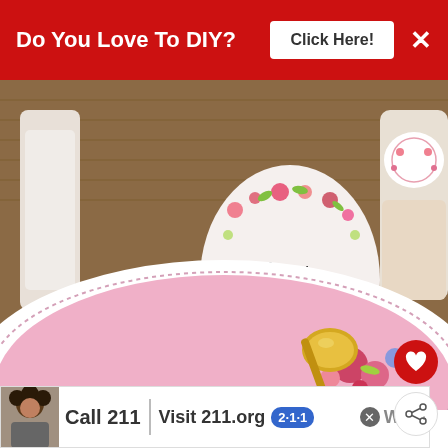[Figure (other): Red advertisement banner at top: 'Do You Love To DIY?' with 'Click Here!' button and X close button]
[Figure (photo): Close-up photo of an Easter/spring table setting with a pink floral plate, gold spoon, and a decorated egg/ball labeled 'Bunny Brunch' with floral wreath design, and a white jar with floral label in background, on wicker mat]
[Figure (other): Red circular heart/favorite button overlay on photo]
[Figure (other): White circular share button overlay on photo]
[Figure (other): WHAT'S NEXT widget with Upcycle Share 2019 badge and 'Upcycle Challenge' text]
Now it's time to hop with the Do It Yourself Designers!!
[Figure (screenshot): Bottom advertisement: Call 211 | Visit 211.org with 2-1-1 badge logo, person photo, and close button. WW logo at right.]